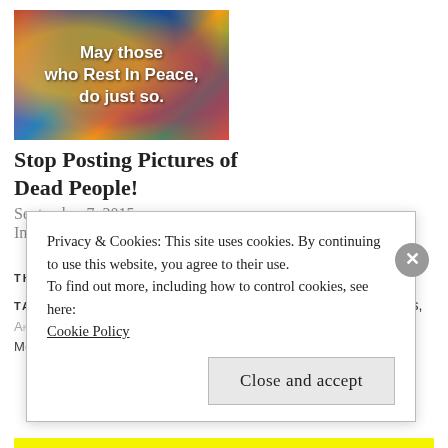[Figure (photo): Colorful African fabric pattern thumbnail image with bold white text overlay reading 'May those who Rest In Peace, do just so.']
Stop Posting Pictures of Dead People!
September 7, 2015
In "Social Media"
THIS ENTRY WAS POSTED IN: Social Media
TAGGED WITH: Android, Android Application Recommendations, Android Applications, Buzzfeed, Holy Bible, Instagram, Mobile Technology, ...
Privacy & Cookies: This site uses cookies. By continuing to use this website, you agree to their use.
To find out more, including how to control cookies, see here:
Cookie Policy

Close and accept